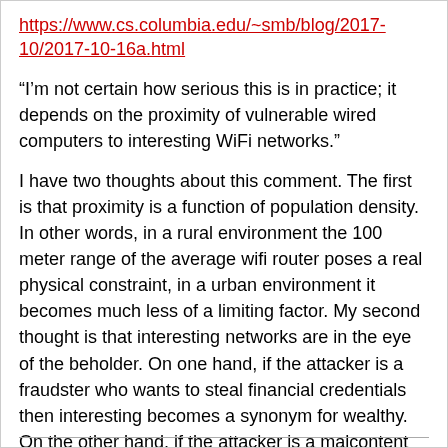https://www.cs.columbia.edu/~smb/blog/2017-10/2017-10-16a.html
“I’m not certain how serious this is in practice; it depends on the proximity of vulnerable wired computers to interesting WiFi networks.”
I have two thoughts about this comment. The first is that proximity is a function of population density. In other words, in a rural environment the 100 meter range of the average wifi router poses a real physical constraint, in a urban environment it becomes much less of a limiting factor. My second thought is that interesting networks are in the eye of the beholder. On one hand, if the attacker is a fraudster who wants to steal financial credentials then interesting becomes a synonym for wealthy. On the other hand, if the attacker is a malcontent who wants to hide his ip address in order to make a VOIP call to the police to swat someone then interesting becomes a synonym for any available network. It is this latter group of riffraffs who I think will benefit most from this attack because it will reduce the barriers to entry.